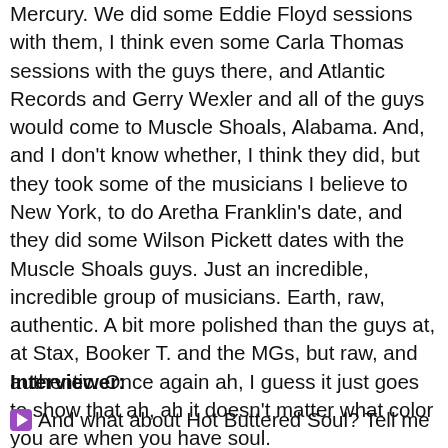Mercury. We did some Eddie Floyd sessions with them, I think even some Carla Thomas sessions with the guys there, and Atlantic Records and Gerry Wexler and all of the guys would come to Muscle Shoals, Alabama. And, and I don't know whether, I think they did, but they took some of the musicians I believe to New York, to do Aretha Franklin's date, and they did some Wilson Pickett dates with the Muscle Shoals guys. Just an incredible, incredible group of musicians. Earth, raw, authentic. A bit more polished than the guys at, at Stax, Booker T. and the MGs, but raw, and authentic. Once again ah, I guess it just goes to show that ah, ah it doesn't matter what color you are when you have soul.
Interviewer:
And what about Hot Buttered Soul? Tell me